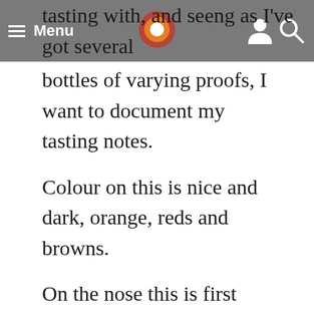Menu
tasting with, and seeing as I've got several bottles of varying proofs, I want to document my tasting notes.
Colour on this is nice and dark, orange, reds and browns.
On the nose this is first and foremost deep rich caramels, caramelised sugars, muscodavo sugars, butterscotch, almost burnt caramel. Really sweet and intense, just as one would hope for in a bourbon. Grains are big in this. Getting toasted malt, thick oily corn sugars and slightly